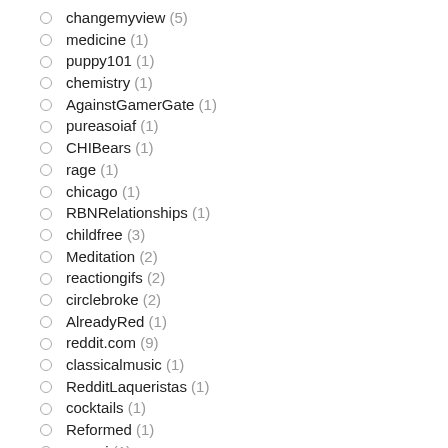changemyview (5)
medicine (1)
puppy101 (1)
chemistry (1)
AgainstGamerGate (1)
pureasoiaf (1)
CHIBears (1)
rage (1)
chicago (1)
RBNRelationships (1)
childfree (3)
Meditation (2)
reactiongifs (2)
circlebroke (2)
AlreadyRed (1)
reddit.com (9)
classicalmusic (1)
RedditLaqueristas (1)
cocktails (1)
Reformed (1)
cogsci (1)
Military (2)